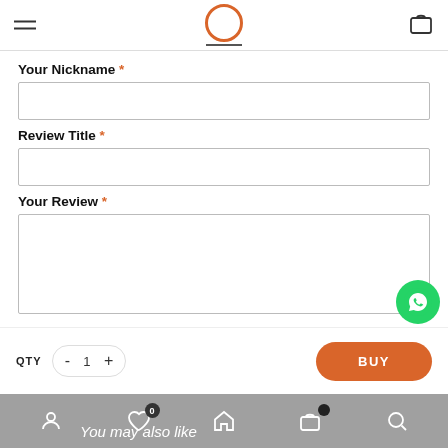Your Nickname *
Review Title *
Your Review *
Submit Review
QTY  -  1  +  BUY
You may also like